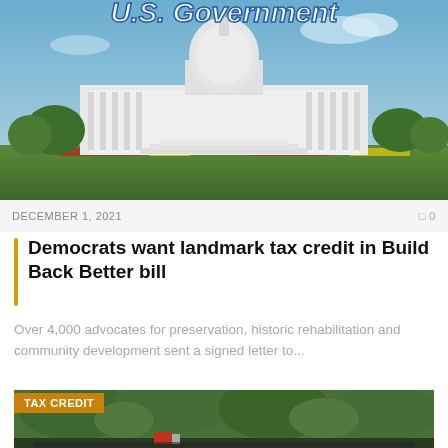[Figure (photo): U.S. Capitol building with blue sky background, green lawn in foreground, text 'U.S. Government' overlaid at top in white italic bold font]
DECEMBER 1, 2021
0
Democrats want landmark tax credit in Build Back Better bill
Over 4,000 advocates for preservation, historic rehabilitation and community development sent a signed letter to...
[Figure (photo): Outdoor scene with trees, has 'TAX CREDIT' orange badge overlay in upper left]